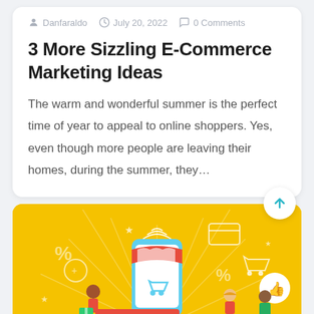Danfaraldo  July 20, 2022  0 Comments
3 More Sizzling E-Commerce Marketing Ideas
The warm and wonderful summer is the perfect time of year to appeal to online shoppers. Yes, even though more people are leaving their homes, during the summer, they…
[Figure (illustration): E-commerce themed illustration on a golden-yellow background with a storefront, phone showing shopping cart, people, wifi symbol, percent signs, and an 'E-COMMERCE' red label badge]